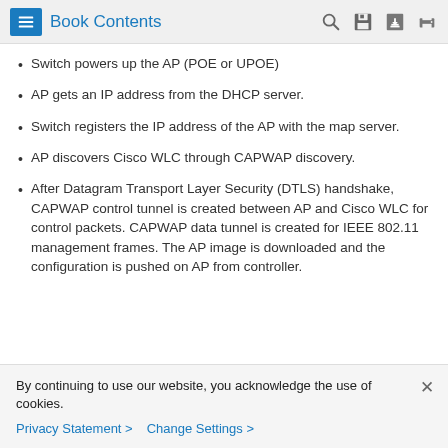Book Contents
Switch powers up the AP (POE or UPOE)
AP gets an IP address from the DHCP server.
Switch registers the IP address of the AP with the map server.
AP discovers Cisco WLC through CAPWAP discovery.
After Datagram Transport Layer Security (DTLS) handshake, CAPWAP control tunnel is created between AP and Cisco WLC for control packets. CAPWAP data tunnel is created for IEEE 802.11 management frames. The AP image is downloaded and the configuration is pushed on AP from controller.
By continuing to use our website, you acknowledge the use of cookies.
Privacy Statement > Change Settings >